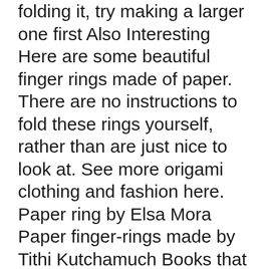folding it, try making a larger one first Also Interesting Here are some beautiful finger rings made of paper. There are no instructions to fold these rings yourself, rather than are just nice to look at. See more origami clothing and fashion here. Paper ring by Elsa Mora Paper finger-rings made by Tithi Kutchamuch Books that have Origami Rings Instruction on how to fold origami rings are found scattered in many books.
08/01/2018В В· Watch Origami- Heart Ring - Instructions in English ( BR )_HD - video dailymotion - SkyUnic Drama on dailymotion 10/06/2019В В· How to Make a Ring out of Paper. Paper rings are an affordable, artistic, and attractive